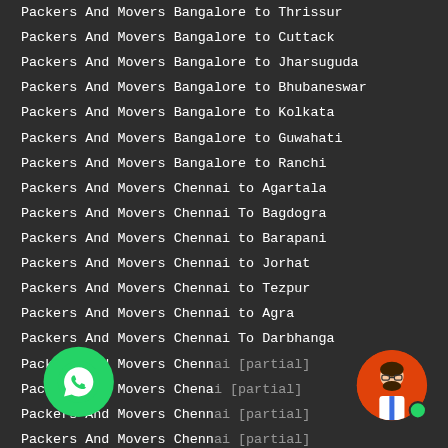Packers And Movers Bangalore to Thrissur
Packers And Movers Bangalore to Cuttack
Packers And Movers Bangalore to Jharsuguda
Packers And Movers Bangalore to Bhubaneswar
Packers And Movers Bangalore to Kolkata
Packers And Movers Bangalore to Guwahati
Packers And Movers Bangalore to Ranchi
Packers And Movers Chennai to Agartala
Packers And Movers Chennai To Bagdogra
Packers And Movers Chennai to Barapani
Packers And Movers Chennai to Jorhat
Packers And Movers Chennai to Tezpur
Packers And Movers Chennai to Agra
Packers And Movers Chennai To Darbhanga
Packers And Movers Chennai [partially hidden]
Packers And Movers Chennai [partially hidden]
Packers And Movers Chennai [partially hidden]
Packers And Movers Chennai [partially hidden]
Packers And Movers From Chennai To Port Blair
Packers And Movers From Chennai To Port Blair
Packers And Movers Chennai to Thanjavur
32 feet multi axle container transport in Chennai
[Figure (screenshot): Chat popup overlay with text: Hi there! I am Steve from Paramount Packers and Movers]
[Figure (illustration): WhatsApp green circle button at bottom left]
[Figure (illustration): Avatar/chatbot icon at bottom right with green online dot]